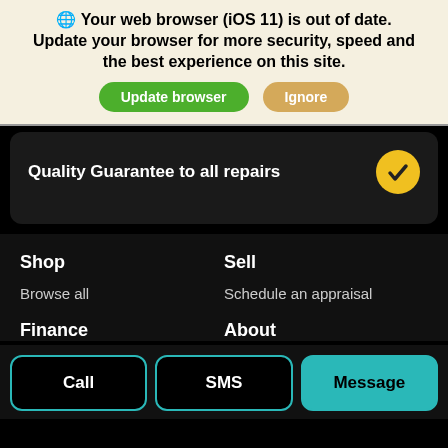🌐 Your web browser (iOS 11) is out of date. Update your browser for more security, speed and the best experience on this site.
Update browser | Ignore
Quality Guarantee to all repairs
Shop
Sell
Browse all
Schedule an appraisal
Finance
About
Call
SMS
Message